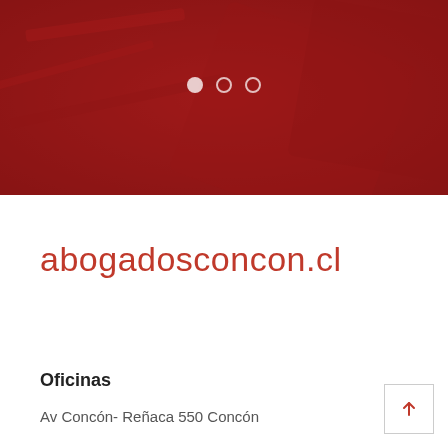[Figure (photo): Red-toned hero banner image with dark red overlay, showing blurred legal/paper background. Three navigation dots centered near top.]
abogadosconcon.cl
Oficinas
Av Concón- Reñaca 550 Concón